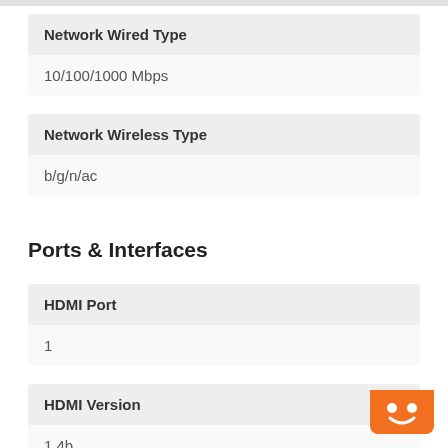Network Wired Type
10/100/1000 Mbps
Network Wireless Type
b/g/n/ac
Ports & Interfaces
HDMI Port
1
HDMI Version
1.4b